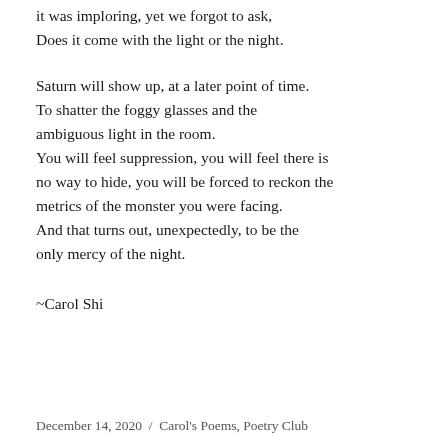it was imploring, yet we forgot to ask,
Does it come with the light or the night.
Saturn will show up, at a later point of time.
To shatter the foggy glasses and the ambiguous light in the room.
You will feel suppression, you will feel there is no way to hide, you will be forced to reckon the metrics of the monster you were facing.
And that turns out, unexpectedly, to be the only mercy of the night.
~Carol Shi
December 14, 2020  /  Carol's Poems, Poetry Club